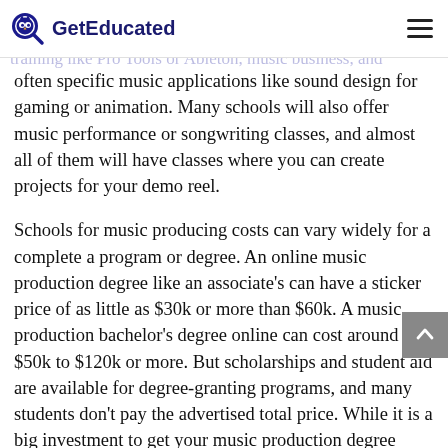GetEducated
often specific music applications like sound design for gaming or animation. Many schools will also offer music performance or songwriting classes, and almost all of them will have classes where you can create projects for your demo reel.
Schools for music producing costs can vary widely for a complete a program or degree. An online music production degree like an associate's can have a sticker price of as little as $30k or more than $60k. A music production bachelor's degree online can cost around $50k to $120k or more. But scholarships and student aid are available for degree-granting programs, and many students don't pay the advertised total price. While it is a big investment to get your music production degree online, it is cheaper than going to a residential school, as you can stay in your current living situation while studying at one of the top music production colleges in the country. We have identified some of the best schools for music producing